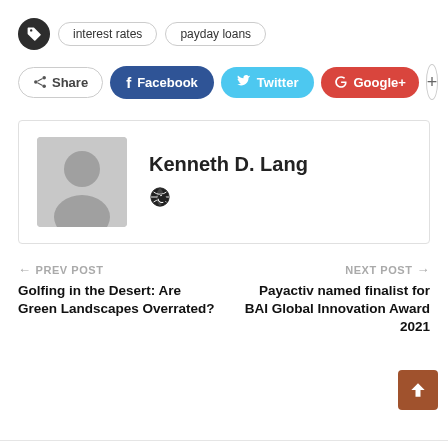interest rates
payday loans
Share  Facebook  Twitter  Google+  +
Kenneth D. Lang
← PREV POST
Golfing in the Desert: Are Green Landscapes Overrated?
NEXT POST →
Payactiv named finalist for BAI Global Innovation Award 2021